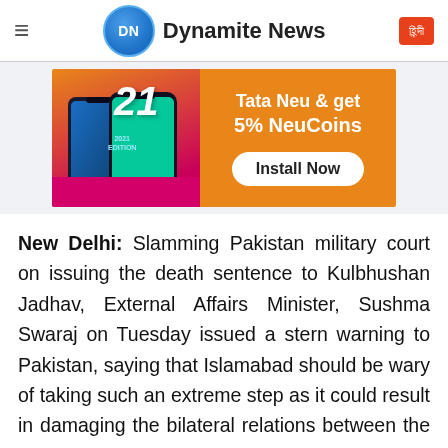Dynamite News
[Figure (infographic): Advertisement banner for Tata Neu app showing smartphones, the number 21, 2021 Edition text, and 'Tata Neu & get 5% NeuCoins' with an Install Now button]
New Delhi: Slamming Pakistan military court on issuing the death sentence to Kulbhushan Jadhav, External Affairs Minister, Sushma Swaraj on Tuesday issued a stern warning to Pakistan, saying that Islamabad should be wary of taking such an extreme step as it could result in damaging the bilateral relations between the already hostile neighbors.